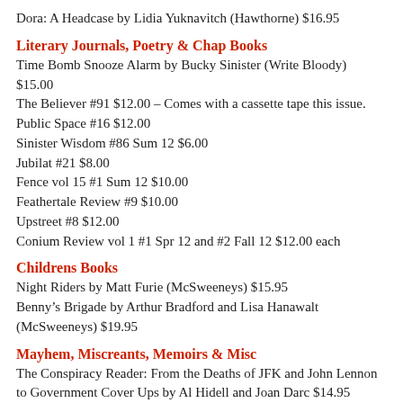Dora: A Headcase by Lidia Yuknavitch (Hawthorne) $16.95
Literary Journals, Poetry & Chap Books
Time Bomb Snooze Alarm by Bucky Sinister (Write Bloody) $15.00
The Believer #91 $12.00 – Comes with a cassette tape this issue.
Public Space #16 $12.00
Sinister Wisdom #86 Sum 12 $6.00
Jubilat #21 $8.00
Fence vol 15 #1 Sum 12 $10.00
Feathertale Review #9 $10.00
Upstreet #8 $12.00
Conium Review vol 1 #1 Spr 12 and #2 Fall 12 $12.00 each
Childrens Books
Night Riders by Matt Furie (McSweeneys) $15.95
Benny’s Brigade by Arthur Bradford and Lisa Hanawalt (McSweeneys) $19.95
Mayhem, Miscreants, Memoirs & Misc
The Conspiracy Reader: From the Deaths of JFK and John Lennon to Government Cover Ups by Al Hidell and Joan Darc $14.95
What Would Machiavelli Do? The Ends Justify the Meanness by Stanley Bing
Music Books
Anarchy Evolution: Faith, Science and Bad Religion In a World Without God b...